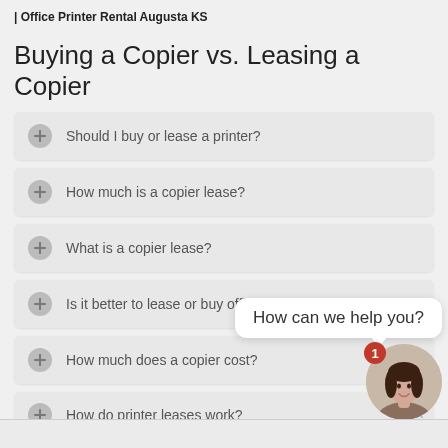| Office Printer Rental Augusta KS
Buying a Copier vs. Leasing a Copier
Should I buy or lease a printer?
How much is a copier lease?
What is a copier lease?
Is it better to lease or buy office equipment?
How much does a copier cost?
How do printer leases work?
[Figure (illustration): Chat widget with avatar of a woman, badge showing 1 notification, and speech bubble saying 'How can we help you?']
How can we help you?